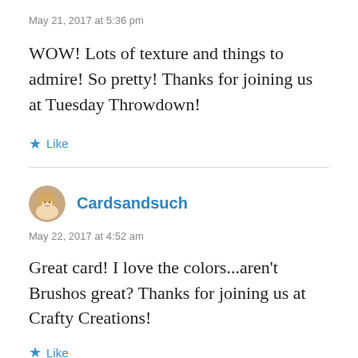May 21, 2017 at 5:36 pm
WOW! Lots of texture and things to admire! So pretty! Thanks for joining us at Tuesday Throwdown!
★ Like
[Figure (photo): Round avatar photo of a woman with blonde hair]
Cardsandsuch
May 22, 2017 at 4:52 am
Great card! I love the colors...aren't Brushos great? Thanks for joining us at Crafty Creations!
★ Like